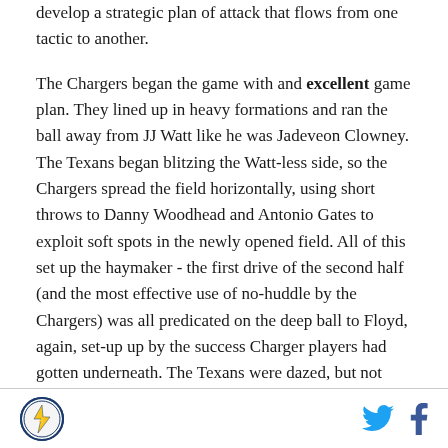develop a strategic plan of attack that flows from one tactic to another.
The Chargers began the game with and excellent game plan. They lined up in heavy formations and ran the ball away from JJ Watt like he was Jadeveon Clowney. The Texans began blitzing the Watt-less side, so the Chargers spread the field horizontally, using short throws to Danny Woodhead and Antonio Gates to exploit soft spots in the newly opened field. All of this set up the haymaker - the first drive of the second half (and the most effective use of no-huddle by the Chargers) was all predicated on the deep ball to Floyd, again, set-up up by the success Charger players had gotten underneath. The Texans were dazed, but not
Logo | Twitter | Facebook